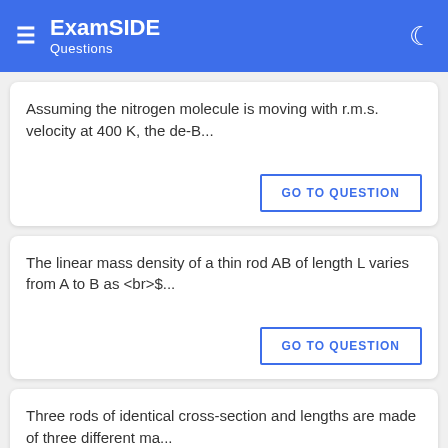ExamSIDE Questions
Assuming the nitrogen molecule is moving with r.m.s. velocity at 400 K, the de-B...
GO TO QUESTION
The linear mass density of a thin rod AB of length L varies from A to B as <br>$...
GO TO QUESTION
Three rods of identical cross-section and lengths are made of three different ma...